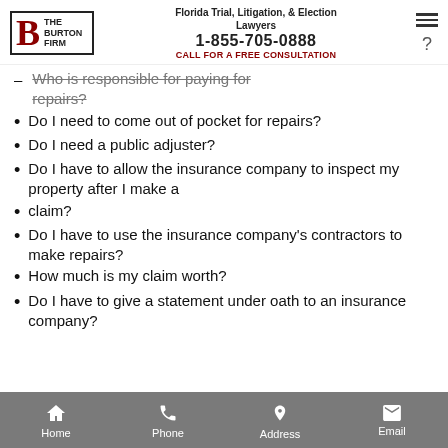The Burton Firm — Florida Trial, Litigation, & Election Lawyers — 1-855-705-0888 — CALL FOR A FREE CONSULTATION
Who is responsible for paying for repairs?
Do I need to come out of pocket for repairs?
Do I need a public adjuster?
Do I have to allow the insurance company to inspect my property after I make a claim?
Do I have to use the insurance company's contractors to make repairs?
How much is my claim worth?
Do I have to give a statement under oath to an insurance company?
Home | Phone | Address | Email